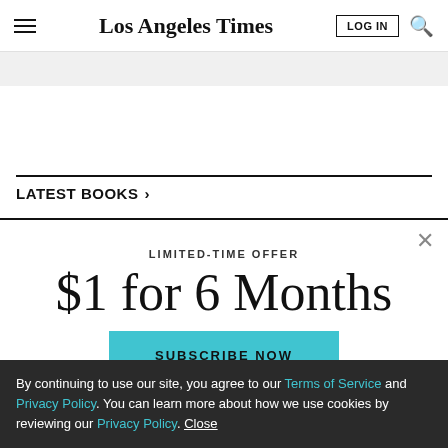Los Angeles Times
LATEST BOOKS >
LIMITED-TIME OFFER
$1 for 6 Months
SUBSCRIBE NOW
By continuing to use our site, you agree to our Terms of Service and Privacy Policy. You can learn more about how we use cookies by reviewing our Privacy Policy. Close